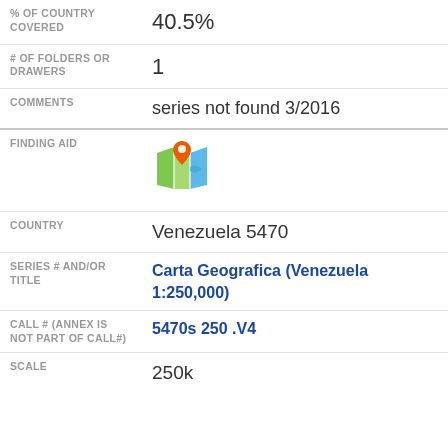| % OF COUNTRY COVERED | 40.5% |
| # OF FOLDERS OR DRAWERS | 1 |
| COMMENTS | series not found 3/2016 |
| FINDING AID | [map icon] |
| COUNTRY | Venezuela 5470 |
| SERIES # AND/OR TITLE | Carta Geografica (Venezuela 1:250,000) |
| CALL # (ANNEX IS NOT PART OF CALL#) | 5470s 250 .V4 |
| SCALE | 250k |